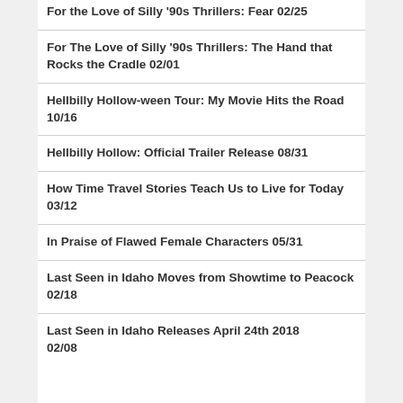For the Love of Silly '90s Thrillers: Fear 02/25
For The Love of Silly '90s Thrillers: The Hand that Rocks the Cradle 02/01
Hellbilly Hollow-ween Tour: My Movie Hits the Road 10/16
Hellbilly Hollow: Official Trailer Release 08/31
How Time Travel Stories Teach Us to Live for Today 03/12
In Praise of Flawed Female Characters 05/31
Last Seen in Idaho Moves from Showtime to Peacock 02/18
Last Seen in Idaho Releases April 24th 2018 02/08